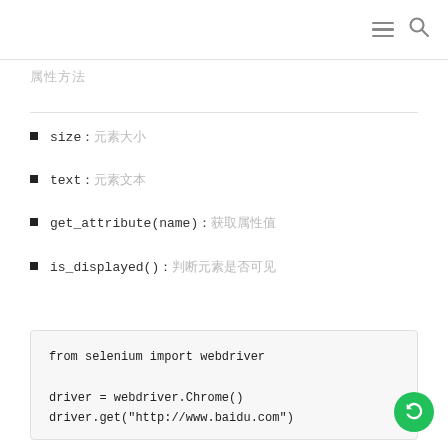属性方法
size：元素大小
text：元素文本
get_attribute(name)：获取属性值
is_displayed()：判断元素是否可见
from selenium import webdriver

driver = webdriver.Chrome()
driver.get("http://www.baidu.com")